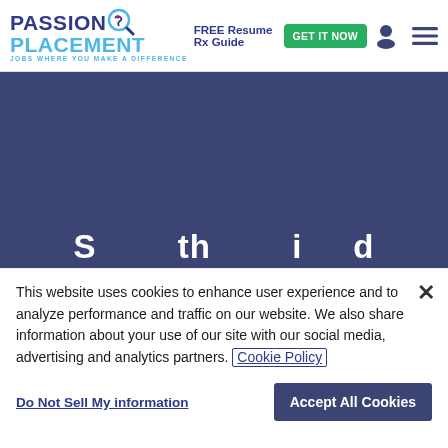[Figure (logo): Passion Placement logo with magnifying glass icon and tagline 'Jobs Where You Make a Difference']
FREE Resume Rx Guide GET IT NOW
[Figure (illustration): Dark navy/purple banner background, partially visible large white bold text peeking from bottom]
This website uses cookies to enhance user experience and to analyze performance and traffic on our website. We also share information about your use of our site with our social media, advertising and analytics partners. Cookie Policy
Do Not Sell My information
Accept All Cookies